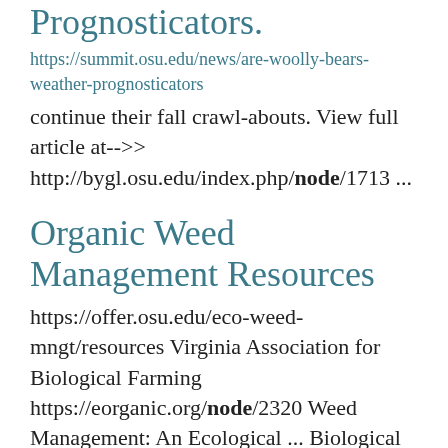Prognosticators.
https://summit.osu.edu/news/are-woolly-bears-weather-prognosticators
continue their fall crawl-abouts. View full article at-->> http://bygl.osu.edu/index.php/node/1713 ...
Organic Weed Management Resources
https://offer.osu.edu/eco-weed-mngt/resources Virginia Association for Biological Farming https://eorganic.org/node/2320 Weed Management: An Ecological ... Biological Farming https://eorganic.org/node/2314